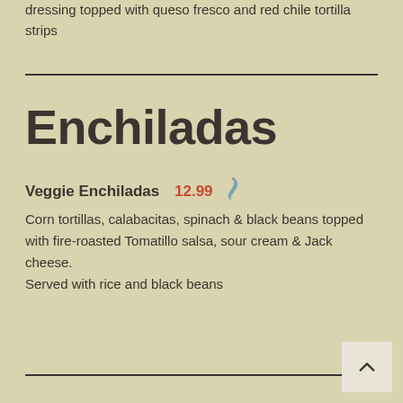dressing topped with queso fresco and red chile tortilla strips
Enchiladas
Veggie Enchiladas 12.99
Corn tortillas, calabacitas, spinach & black beans topped with fire-roasted Tomatillo salsa, sour cream & Jack cheese. Served with rice and black beans